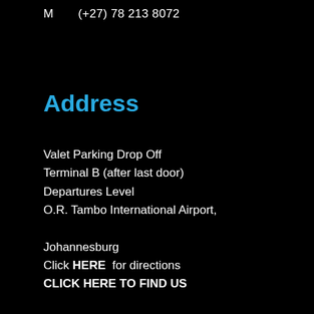M      (+27) 78 213 8072
Address
Valet Parking Drop Off
Terminal B (after last door)
Departures Level
O.R. Tambo International Airport,
Johannesburg
Click HERE  for directions
CLICK HERE TO FIND US